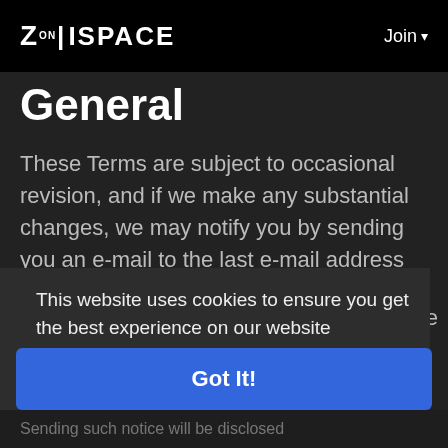Z ON ISPACE    Join
General
These Terms are subject to occasional revision, and if we make any substantial changes, we may notify you by sending you an e-mail to the last e-mail address you provided to us and/or by prominently posting
This website uses cookies to ensure you get the best experience on our website
Learn More
Got It!
something such notice will be disclosed